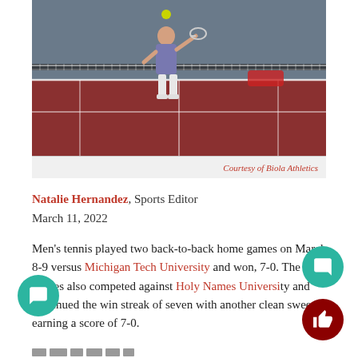[Figure (photo): A tennis player mid-serve on a red hard court, near the net, with a yellow tennis ball visible in the air. Red bag visible in the background near the net post.]
Courtesy of Biola Athletics
Natalie Hernandez, Sports Editor
March 11, 2022
Men’s tennis played two back-to-back home games on March 8-9 versus Michigan Tech University and won, 7-0. The Eagles also competed against Holy Names University and continued the win streak of seven with another clean sweep, earning a score of 7-0.